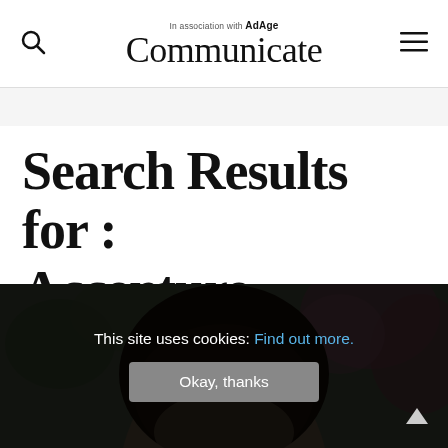In association with AdAge — Communicate
Search Results for : Accenture
[Figure (photo): Partial view of a person's head with dark hair, outdoors with green foliage and pink flowers in background]
This site uses cookies: Find out more.
Okay, thanks